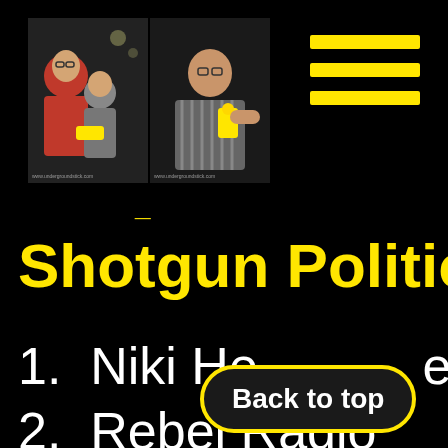[Figure (photo): Two side-by-side event photos on black background. Left: two people posing together, one in orange jacket holding a yellow ticket. Right: a man in striped shirt holding a trophy/award. Both photos have watermarks.]
[Figure (illustration): Hamburger menu icon made of three thick yellow horizontal bars on black background]
Shotgun Politics
1. Niki He[arthrob]e
2. Rebel Radio
Back to top